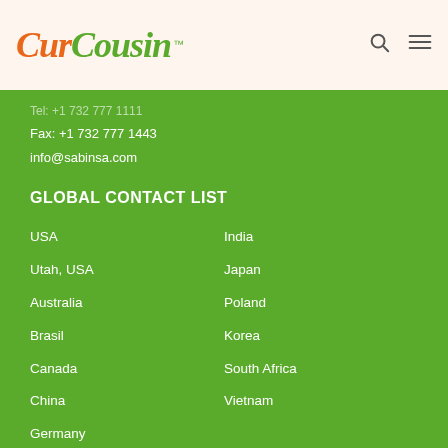CurCousin™
Fax: +1 732 777 1443
info@sabinsa.com
GLOBAL CONTACT LIST
USA
India
Utah, USA
Japan
Australia
Poland
Brasil
Korea
Canada
South Africa
China
Vietnam
Germany